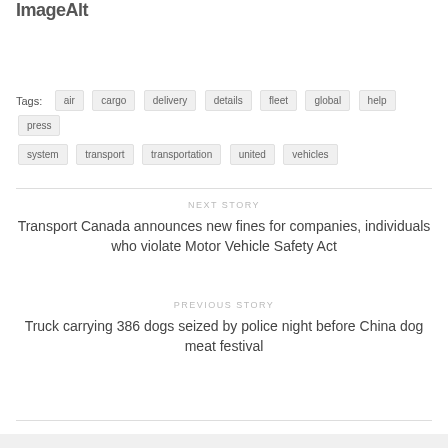ImageAlt
Tags: air cargo delivery details fleet global help press system transport transportation united vehicles
NEXT STORY
Transport Canada announces new fines for companies, individuals who violate Motor Vehicle Safety Act
PREVIOUS STORY
Truck carrying 386 dogs seized by police night before China dog meat festival